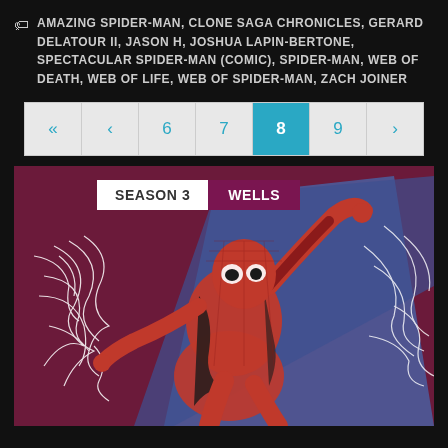AMAZING SPIDER-MAN, CLONE SAGA CHRONICLES, GERARD DELATOUR II, JASON H, JOSHUA LAPIN-BERTONE, SPECTACULAR SPIDER-MAN (COMIC), SPIDER-MAN, WEB OF DEATH, WEB OF LIFE, WEB OF SPIDER-MAN, ZACH JOINER
« ‹ 6 7 [8] 9 ›
[Figure (illustration): Comic book cover art showing Spider-Man swinging with web lines on a dark purple/maroon background with a blue angular shape. Overlay tabs show 'SEASON 3' (white) and 'WELLS' (dark purple).]